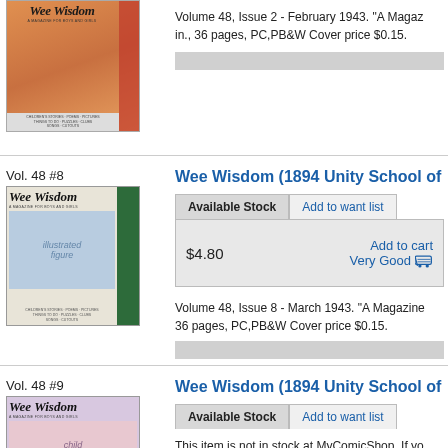[Figure (photo): Partial view of Wee Wisdom magazine cover Vol 48 #2 with orange and illustrated cover]
Volume 48, Issue 2 - February 1943. "A Magaz in., 36 pages, PC,PB&W Cover price $0.15.
Vol. 48 #8
[Figure (photo): Wee Wisdom magazine cover Vol 48 #8, March 1943, illustrated children cover with green stripe]
Wee Wisdom (1894 Unity School of Ch
| Available Stock | Add to want list |
| --- | --- |
| $4.80 | Add to cart
Very Good |
Volume 48, Issue 8 - March 1943. "A Magazine 36 pages, PC,PB&W Cover price $0.15.
Vol. 48 #9
[Figure (photo): Wee Wisdom magazine cover Vol 48 #9, April 1943, child with purple hat on pink cover]
Wee Wisdom (1894 Unity School of Ch
| Available Stock | Add to want list |
| --- | --- |
This item is not in stock at MyComicShop. If yo when it becomes available.